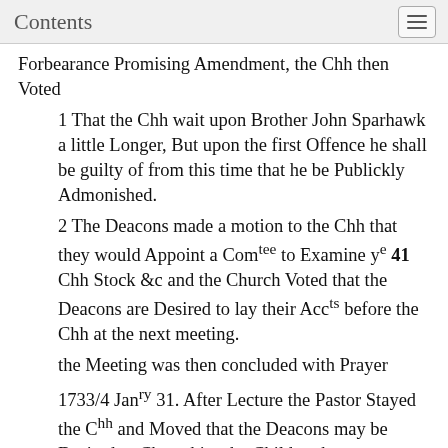Contents
Forbearance Promising Amendment, the Chh then Voted
1 That the Chh wait upon Brother John Sparhawk a little Longer, But upon the first Offence he shall be guilty of from this time that he be Publickly Admonished.
2 The Deacons made a motion to the Chh that they would Appoint a Comtee to Examine ye 41 Chh Stock &c and the Church Voted that the Deacons are Desired to lay their Accts before the Chh at the next meeting.
the Meeting was then concluded with Prayer
1733/4 Janry 31. After Lecture the Pastor Stayed the Chh and Moved that the Deacons may be Desired to Chatechise the Children between Meetings as soon as the Days are sufficiently Lengthened for a Convenient Intermission. To Ask them 4 or 5 Questions a time till they have Learnd the Chatechism 42 The Chh voted to